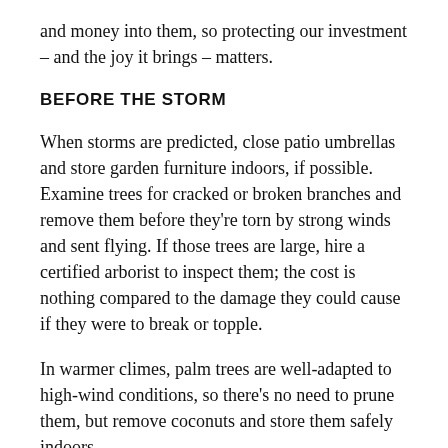and money into them, so protecting our investment – and the joy it brings – matters.
BEFORE THE STORM
When storms are predicted, close patio umbrellas and store garden furniture indoors, if possible. Examine trees for cracked or broken branches and remove them before they're torn by strong winds and sent flying. If those trees are large, hire a certified arborist to inspect them; the cost is nothing compared to the damage they could cause if they were to break or topple.
In warmer climes, palm trees are well-adapted to high-wind conditions, so there's no need to prune them, but remove coconuts and store them safely indoors.
If your soil is moist — either naturally or from recent rain — apply 3 inches of mulch over beds and borders. That will offer protection against the soaking effects of a deluge, which could upset trees, especially shallow-rooted ones like white pine…